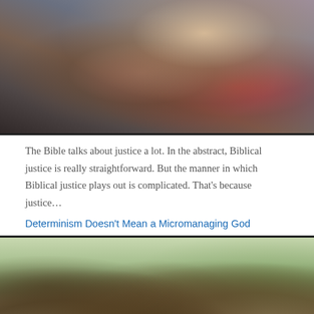[Figure (photo): A classical painting showing a figure in ornate robes and armor, with blue/grey drapery and decorative elements, dark and richly colored.]
The Bible talks about justice a lot. In the abstract, Biblical justice is really straightforward. But the manner in which Biblical justice plays out is complicated. That’s because justice…
Determinism Doesn’t Mean a Micromanaging God
[Figure (photo): A large ancient oak tree with massive gnarled branches spreading wide, photographed from below looking up, with green foliage in background.]